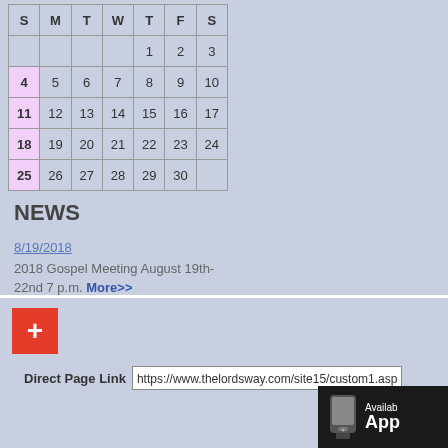| S | M | T | W | T | F | S |
| --- | --- | --- | --- | --- | --- | --- |
|  |  |  |  | 1 | 2 | 3 |
| 4 | 5 | 6 | 7 | 8 | 9 | 10 |
| 11 | 12 | 13 | 14 | 15 | 16 | 17 |
| 18 | 19 | 20 | 21 | 22 | 23 | 24 |
| 25 | 26 | 27 | 28 | 29 | 30 |  |
NEWS
8/19/2018
2018 Gospel Meeting August 19th-22nd 7 p.m. More>>
[Figure (other): Red plus button icon]
Direct Page Link  https://www.thelordsway.com/site15/custom1.asp
[Figure (screenshot): App store badge showing phone icon with 'Available App' text]